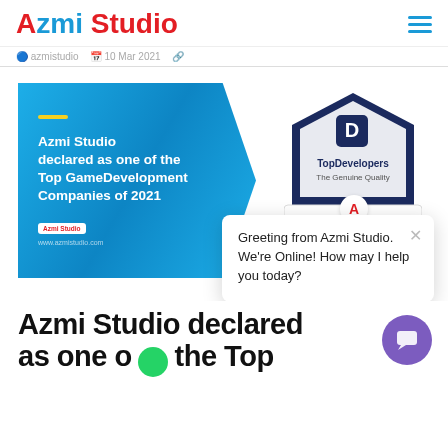Azmi Studio
azmistudio · 10 Mar 2021
[Figure (screenshot): Azmi Studio promotional banner (blue arrow-shaped graphic) with text: Azmi Studio declared as one of the Top GameDevelopment Companies of 2021, alongside TopDevelopers The Genuine Quality badge and a chat popup saying Greeting from Azmi Studio. We're Online! How may I help you today?]
Azmi Studio declared as one of the Top